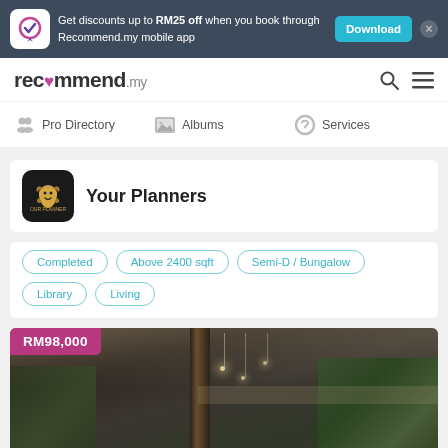Get discounts up to RM25 off when you book through Recommend.my mobile app
[Figure (logo): Recommend.my logo in navbar]
Pro Directory   Albums   Services
Your Planners
Completed
Above 2400 sqft
Semi-D / Bungalow
Library
Living
[Figure (photo): Interior design photo of a luxury living space with pendant lighting, wooden column, and green wall feature, showing price badge RM98,000]